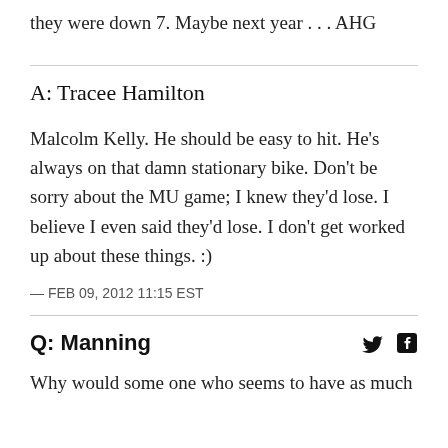they were down 7. Maybe next year . . . AHG
A: Tracee Hamilton
Malcolm Kelly. He should be easy to hit. He's always on that damn stationary bike. Don't be sorry about the MU game; I knew they'd lose. I believe I even said they'd lose. I don't get worked up about these things. :)
— FEB 09, 2012 11:15 EST
Q: Manning
Why would some one who seems to have as much